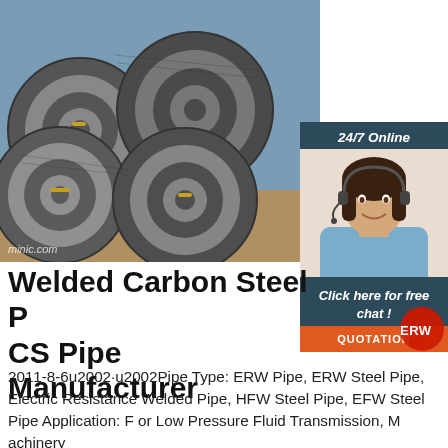[Figure (photo): Stacked coils of steel wire rod or ERW steel pipe raw material, photographed outdoors. Watermark 'minic.com' visible at bottom left.]
[Figure (photo): Customer service representative (woman with headset, smiling) inside a dark blue panel, with '24/7 Online' label at top, 'Click here for free chat!' text, and an orange QUOTATION button.]
Welded Carbon Steel Pipe CS Pipe Manufacturer
2011-8-6u2002·u2002Pipe Type: ERW Pipe, ERW Steel Pipe, Electric Resistance Welded Pipe, HFW Steel Pipe, EFW Steel Pipe Application: F or Low Pressure Fluid Transmission, M achinery